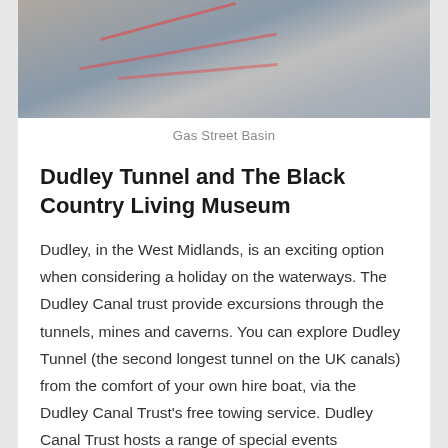[Figure (photo): Aerial or overhead view of Gas Street Basin showing a road/canal area with red line markings visible on a dark surface, alongside a lighter paved area.]
Gas Street Basin
Dudley Tunnel and The Black Country Living Museum
Dudley, in the West Midlands, is an exciting option when considering a holiday on the waterways. The Dudley Canal trust provide excursions through the tunnels, mines and caverns. You can explore Dudley Tunnel (the second longest tunnel on the UK canals) from the comfort of your own hire boat, via the Dudley Canal Trust's free towing service. Dudley Canal Trust hosts a range of special events throughout the year, including Santa Boat Trips from the 5th December. Very